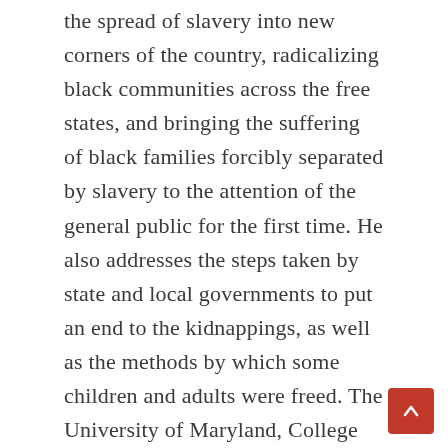the spread of slavery into new corners of the country, radicalizing black communities across the free states, and bringing the suffering of black families forcibly separated by slavery to the attention of the general public for the first time. He also addresses the steps taken by state and local governments to put an end to the kidnappings, as well as the methods by which some children and adults were freed. The University of Maryland, College Park is home to Bell, who is an assistant professor of history. His bookStolen: Five Free Boys Kidnapped Into Slavery